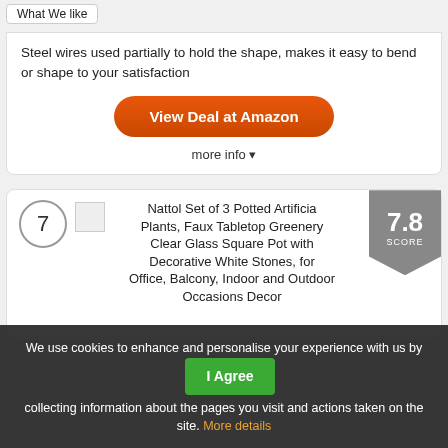What We like
Steel wires used partially to hold the shape, makes it easy to bend or shape to your satisfaction
View Deal at Amazon
more info ▾
7
Nattol Set of 3 Potted Artificial Plants, Faux Tabletop Greenery Clear Glass Square Pot with Decorative White Stones, for Office, Balcony, Indoor and Outdoor Occasions Decor
7.8 SCORE
We use cookies to enhance and personalise your experience with us by collecting information about the pages you visit and actions taken on the site. More details   I Agree